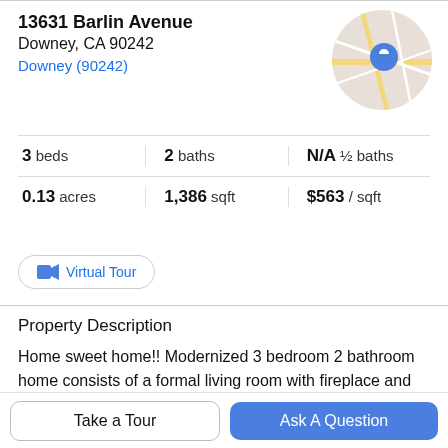13631 Barlin Avenue
Downey, CA 90242
Downey (90242)
[Figure (map): Circular map thumbnail showing street map with blue location pin marker]
3 beds   |   2 baths   |   N/A ½ baths
0.13 acres   |   1,386 sqft   |   $563 / sqft
Virtual Tour
Property Description
Home sweet home!! Modernized 3 bedroom 2 bathroom home consists of a formal living room with fireplace and surround sound speakers, a newly remodeled kitchen with
quartz counters, tile backsplash and custom cabinets, and
Take a Tour
Ask A Question